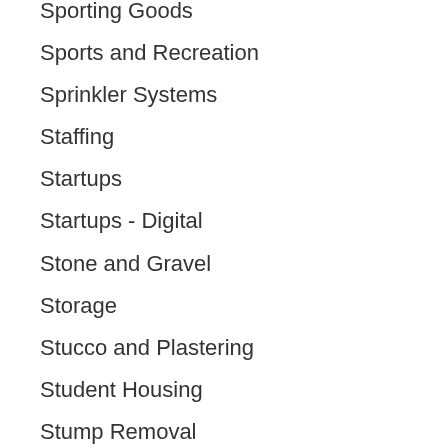Sporting Goods
Sports and Recreation
Sprinkler Systems
Staffing
Startups
Startups - Digital
Stone and Gravel
Storage
Stucco and Plastering
Student Housing
Stump Removal
Sunrooms
Supplies
Tailors and Seamstresses
Takeout
Tanning